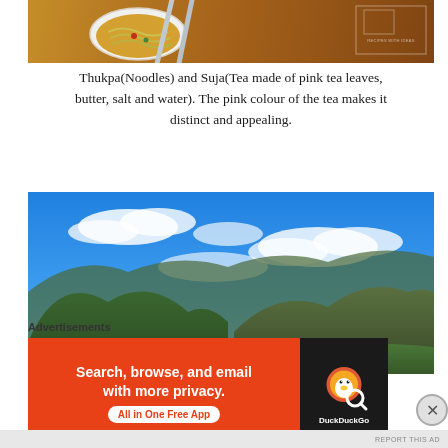[Figure (photo): Photo of a bowl of Thukpa noodles with chopsticks resting across the top, on a wooden surface. A watermark with an icon is visible in the top-right corner.]
Thukpa(Noodles) and Suja(Tea made of pink tea leaves, butter, salt and water). The pink colour of the tea makes it distinct and appealing.
[Figure (photo): Aerial landscape photo of a mountain valley with a blue sky and white clouds. A small town or settlement is visible in the valley below between green forested mountain slopes.]
Advertisements
[Figure (screenshot): DuckDuckGo advertisement banner. Orange/red background on left with text 'Search, browse, and email with more privacy.' and 'All in One Free App' button. Black panel on right with DuckDuckGo duck logo and brand name.]